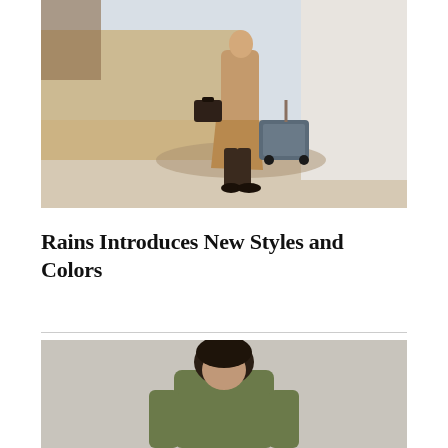[Figure (photo): A person in a long tan/camel coat walking across a paved outdoor area, carrying a dark briefcase in one hand and pulling a vintage-style rolling luggage with the other. The background shows light-colored walls and a building corner.]
Rains Introduces New Styles and Colors
[Figure (photo): A close-up of a person with dark hair, wearing olive/army green clothing, partially cropped at the bottom of the page.]